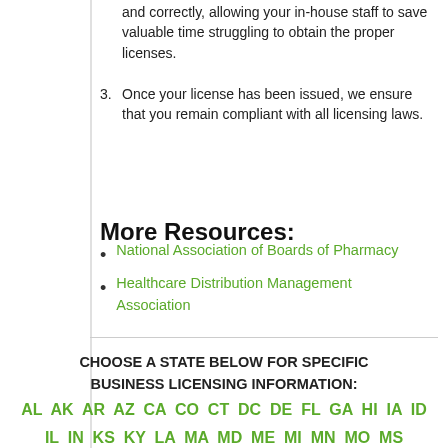and correctly, allowing your in-house staff to save valuable time struggling to obtain the proper licenses.
3. Once your license has been issued, we ensure that you remain compliant with all licensing laws.
More Resources:
National Association of Boards of Pharmacy
Healthcare Distribution Management Association
CHOOSE A STATE BELOW FOR SPECIFIC BUSINESS LICENSING INFORMATION:
AL AK AR AZ CA CO CT DC DE FL GA HI IA ID IL IN KS KY LA MA MD ME MI MN MO MS MT NC ND NE NH NJ NM NV NY OH OK OR PA RI SC SD TN TX UT VA VT WA WI WV WY